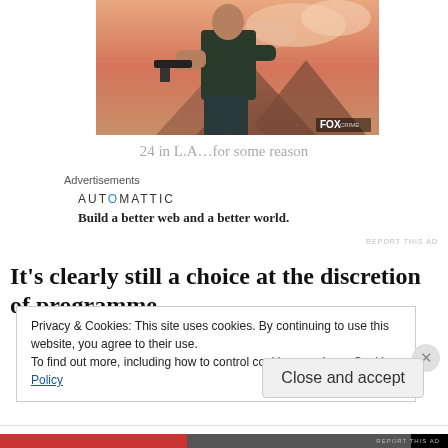[Figure (photo): A man in a dark t-shirt holding a pistol against a dramatic reddish-orange sunset sky with mountains in background. FOX logo visible in lower right corner.]
24 in L.A…for some reason
Advertisements
[Figure (logo): AUTOMATTIC logo with blue letter O]
Build a better web and a better world.
REPORT THIS AD
It's clearly still a choice at the discretion of programme
Privacy & Cookies: This site uses cookies. By continuing to use this website, you agree to their use.
To find out more, including how to control cookies, see here: Cookie Policy
Close and accept
REPORT THIS AD